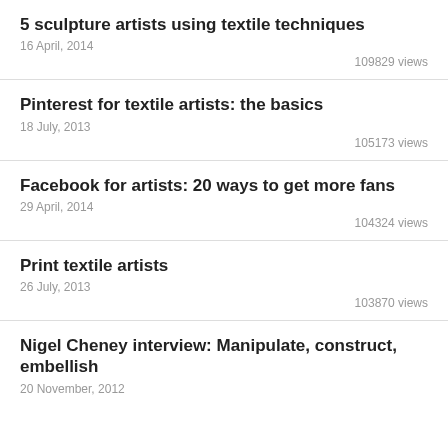5 sculpture artists using textile techniques
16 April, 2014
109829 views
Pinterest for textile artists: the basics
18 July, 2013
105173 views
Facebook for artists: 20 ways to get more fans
29 April, 2014
104324 views
Print textile artists
26 July, 2013
103870 views
Nigel Cheney interview: Manipulate, construct, embellish
20 November, 2012